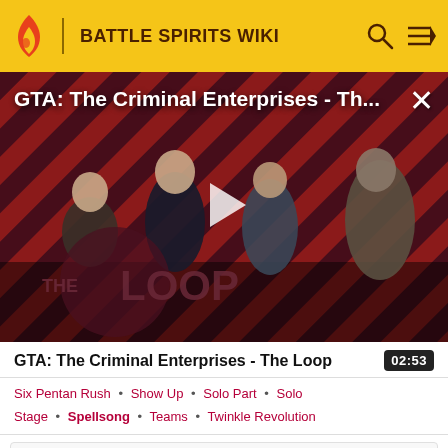BATTLE SPIRITS WIKI
[Figure (screenshot): GTA: The Criminal Enterprises - The Loop video thumbnail with a play button, showing four game characters on a diagonal striped red and black background with 'THE LOOP' watermark]
GTA: The Criminal Enterprises - The Loop  02:53
Six Pentan Rush • Show Up • Solo Part • Solo Stage • Spellsong • Teams • Twinkle Revolution
Blue